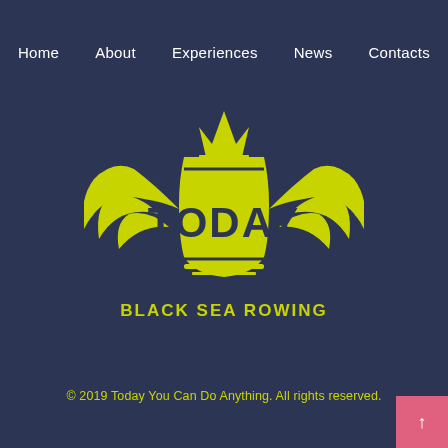Home  About  Experiences  News  Contacts
[Figure (logo): TODAY Black Sea Rowing logo — yellow-green winged emblem with crown above letters TODAY, on dark navy background. Text below reads BLACK SEA ROWING.]
© 2019 Today You Can Do Anything. All rights reserved.